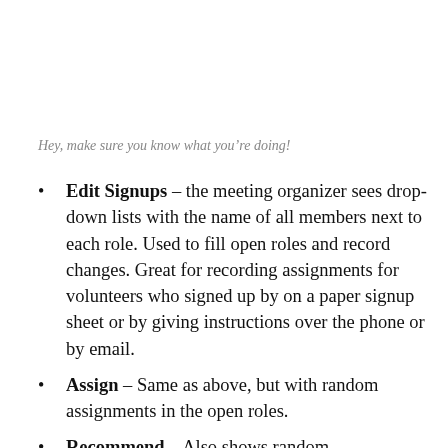Hey, make sure you know what you're doing!
Edit Signups – the meeting organizer sees drop-down lists with the name of all members next to each role. Used to fill open roles and record changes. Great for recording assignments for volunteers who signed up by on a paper signup sheet or by giving instructions over the phone or by email.
Assign – Same as above, but with random assignments in the open roles.
Recommend – Also shows random